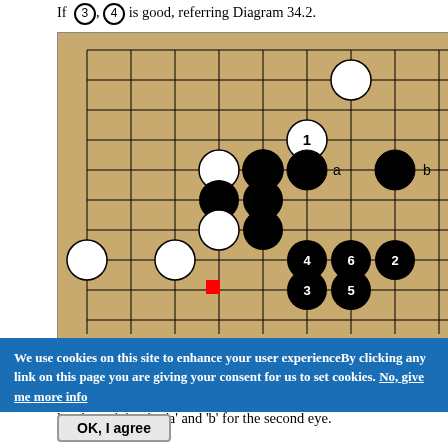If ③ , ④ is good, referring Diagram 34.2.
[Figure (illustration): Go board diagram 34.8 showing Black alive position with numbered moves 1-6, labeled points a and b, white and black stones, and a red square marking.]
Diagram 34.8: Black alive
If ③ , ④ is good. Black makes the first eye in the corner, leaving miai point 'a' and 'b' for the second eye.
[Figure (illustration): Partial Go board diagram showing white stone in upper area.]
We use cookies on this site to enhance your user experienceBy clicking any link on this page you are giving your consent for us to set cookies. No, give me more info
OK, I agree